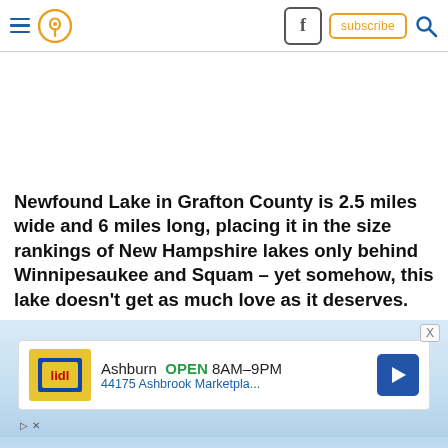Navigation header with hamburger menu, location pin icon, Facebook icon, subscribe button, and search icon
Newfound Lake in Grafton County is 2.5 miles wide and 6 miles long, placing it in the size rankings of New Hampshire lakes only behind Winnipesaukee and Squam – yet somehow, this lake doesn't get as much love as it deserves.
[Figure (screenshot): Advertisement banner: Ashburn OPEN 8AM-9PM, 44175 Ashbrook Marketpla... with Lidl logo and navigation arrow icon]